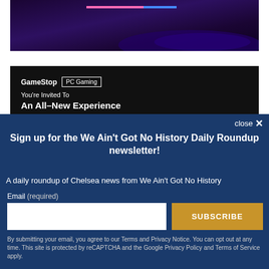[Figure (photo): Dark gaming setup image with pink and blue progress bar overlay, purple-lit keyboard visible]
[Figure (screenshot): GameStop PC Gaming advertisement banner with text 'You're Invited To An All-New Experience' on dark background]
Sign up for the We Ain't Got No History Daily Roundup newsletter!
A daily roundup of Chelsea news from We Ain't Got No History
Email (required)
SUBSCRIBE
By submitting your email, you agree to our Terms and Privacy Notice. You can opt out at any time. This site is protected by reCAPTCHA and the Google Privacy Policy and Terms of Service apply.